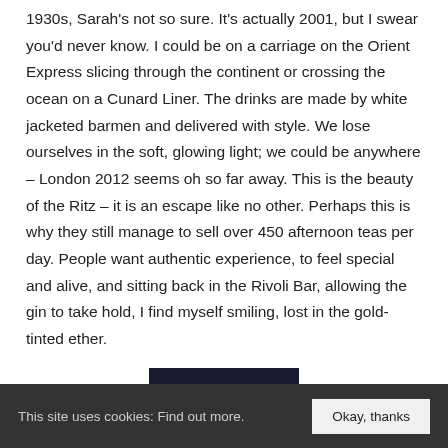1930s, Sarah's not so sure. It's actually 2001, but I swear you'd never know. I could be on a carriage on the Orient Express slicing through the continent or crossing the ocean on a Cunard Liner. The drinks are made by white jacketed barmen and delivered with style. We lose ourselves in the soft, glowing light; we could be anywhere – London 2012 seems oh so far away. This is the beauty of the Ritz – it is an escape like no other. Perhaps this is why they still manage to sell over 450 afternoon teas per day. People want authentic experience, to feel special and alive, and sitting back in the Rivoli Bar, allowing the gin to take hold, I find myself smiling, lost in the gold-tinted ether.
BOOK NOW
This site uses cookies: Find out more.
Okay, thanks